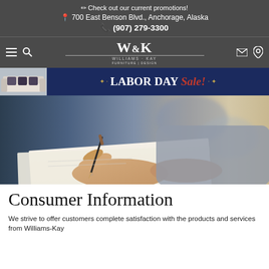✏ Check out our current promotions!
📍 700 East Benson Blvd., Anchorage, Alaska
📞 (907) 279-3300
[Figure (logo): Williams-Kay Furniture Design logo with W&K monogram in white on dark gray background, with hamburger menu, search, mail, and location icons]
[Figure (infographic): Labor Day Sale banner with dark navy blue background, decorative stars, and sofa image on left. Text reads LABOR DAY Sale! in white and red script]
[Figure (photo): Close-up photo of a person's hand writing on paper with a pen, blurred background showing a person in a gray shirt]
Consumer Information
We strive to offer customers complete satisfaction with the products and services from Williams-Kay